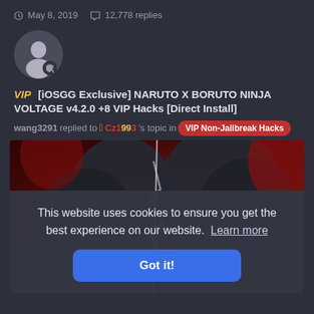May 8, 2019  12,778 replies
[Figure (illustration): User avatar: gray circle with white silhouette person icon and small chat badge]
VIP  [iOSGG Exclusive] NARUTO X BORUTO NINJA VOLTAGE v4.2.0 +8 VIP Hacks [Direct Install]
wang3291 replied to  Cz1993's topic in  VIP Non-Jailbreak Hacks
[Figure (illustration): Anime/game image showing dark armored characters on red background with cookie consent popup overlay saying: 'This website uses cookies to ensure you get the best experience on our website. Learn more' and a blue 'Got it!' button.]